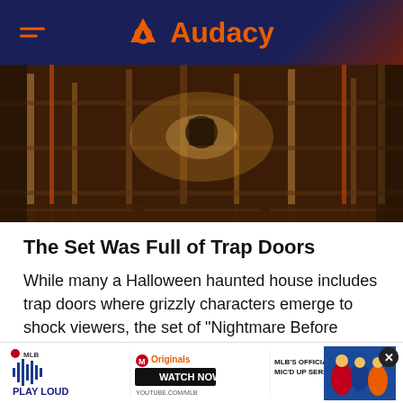Audacy
[Figure (photo): Dark interior of a film set with wooden scaffolding, trap doors, and dramatic lighting — appears to be from The Nightmare Before Christmas set.]
The Set Was Full of Trap Doors
While many a Halloween haunted house includes trap doors where grizzly characters emerge to shock viewers, the set of "Nightmare Before Christmas" included hidden passages for an entirely different reason. Animators used special trapdoors to pop in and out of the middle of
[Figure (screenshot): MLB Play Loud advertisement banner featuring Originals Watch Now on YouTube, MLB's Official Mic'd Up Series, and a photo of baseball players celebrating.]